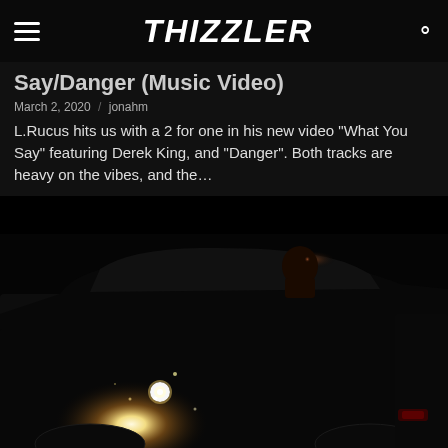THIZZLER
Say/Danger (Music Video)
March 2, 2020 / jonahm
L.Rucus hits us with a 2 for one in his new video "What You Say" featuring Derek King, and "Danger". Both tracks are heavy on the vibes, and the...
[Figure (photo): Dark nighttime photo of a car with bright headlights, person visible in driver seat through window]
Derek King – Keep It 1 (EP)
February 13, 2020 / KGBeatz